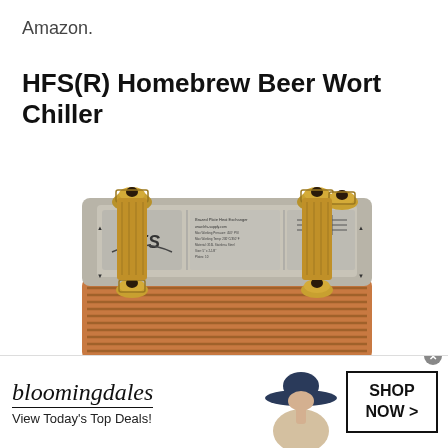Amazon.
HFS(R) Homebrew Beer Wort Chiller
[Figure (photo): Photo of an HFS branded brazed plate heat exchanger / homebrew beer wort chiller. The device is a rectangular copper-colored plate with four threaded pipe fittings at the corners (two on each side). The top face shows a label with 'HFS' logo and product specifications including CE and other certification marks.]
[Figure (photo): Bloomingdales advertisement banner showing the bloomingdales logo, tagline 'View Today's Top Deals!', a woman wearing a large navy blue sun hat, and a 'SHOP NOW >' call-to-action button.]